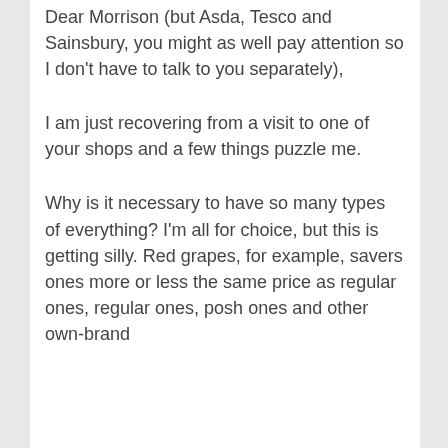Dear Morrison (but Asda, Tesco and Sainsbury, you might as well pay attention so I don't have to talk to you separately),
I am just recovering from a visit to one of your shops and a few things puzzle me.
Why is it necessary to have so many types of everything? I'm all for choice, but this is getting silly. Red grapes, for example, savers ones more or less the same price as regular ones, regular ones, posh ones and other own-brand